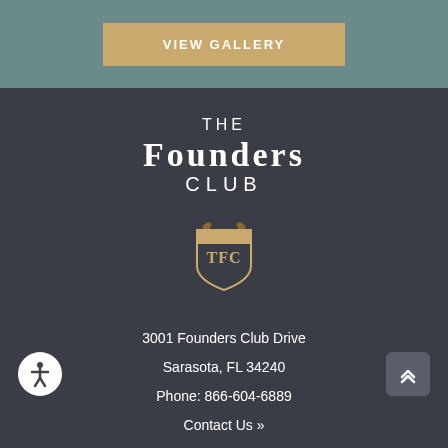[Figure (other): VIEW GALLERY button on teal/grey background]
[Figure (logo): The Founders Club logo with shield emblem showing TFC initials and crossed golf clubs]
3001 Founders Club Drive
Sarasota, FL 34240
Phone: 866-604-6889
Contact Us »
Click here to contact the Golf Club